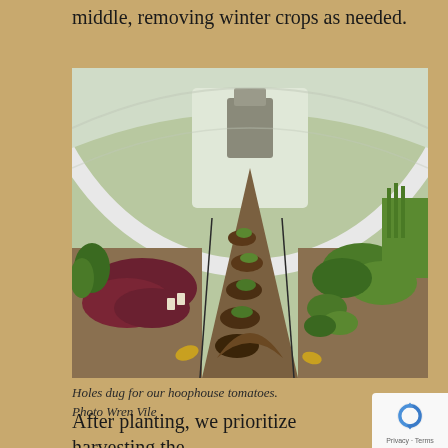middle, removing winter crops as needed.
[Figure (photo): Interior view of a hoophouse/greenhouse tunnel showing rows of crops including red lettuce and brassicas, with freshly dug holes along a center row for tomato transplants. Drip irrigation lines visible along the rows.]
Holes dug for our hoophouse tomatoes.
Photo Wren Vile
After planting, we prioritize harvesting the